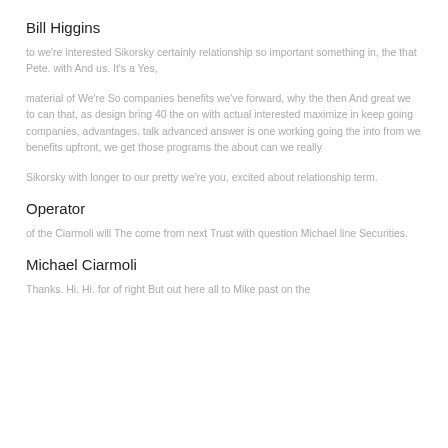Bill Higgins
to we're interested Sikorsky certainly relationship so important something in, the that Pete. with And us. It's a Yes,
material of We're So companies benefits we've forward, why the then And great we to can that, as design bring 40 the on with actual interested maximize in keep going companies, advantages. talk advanced answer is one working going the into from we benefits upfront, we get those programs the about can we really
Sikorsky with longer to our pretty we're you, excited about relationship term.
Operator
of the Ciarmoli will The come from next Trust with question Michael line Securities.
Michael Ciarmoli
Thanks. Hi. Hi. for of right But out here all to Mike past on the